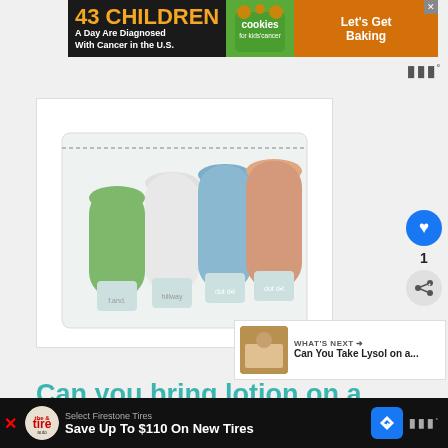[Figure (screenshot): Top advertisement banner: '43 CHILDREN A Day Are Diagnosed With Cancer in the U.S.' with Cookies for Kids Cancer logo and 'Let's Get Baking' call to action]
[Figure (photo): Product photo of four silicone travel bottles (green, white, blue, peach/orange) in a clear zip pouch, branded dot dot]
[Figure (screenshot): Social interaction buttons: heart/like button showing count of 1, and share button]
[Figure (screenshot): What's Next panel showing 'Can You Take Lysol on a...' article thumbnail]
Can you bring lotion on a
[Figure (screenshot): Bottom advertisement: Save Up To $110 On New Tires, Select Firestone Tires, with Firestone/The Auto logo and navigation arrow icon]